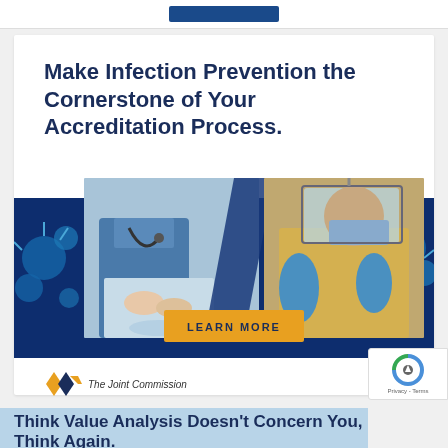Make Infection Prevention the Cornerstone of Your Accreditation Process.
[Figure (photo): Composite medical advertisement image showing a nurse washing hands on the left, a healthcare worker in full PPE (face shield, mask, gloves) on the right, with coronavirus particle imagery on sides and a dark blue diagonal divider. A yellow 'LEARN MORE' button overlays the bottom center.]
[Figure (logo): The Joint Commission logo — two overlapping chevron/arrow shapes in gold and dark blue, next to italic text 'The Joint Commission']
Think Value Analysis Doesn't Concern You, Think Again.